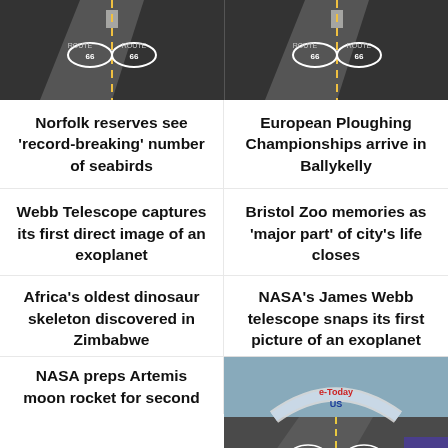[Figure (photo): Two road photos side by side showing Route 66 style highway with road markings]
Norfolk reserves see 'record-breaking' number of seabirds
European Ploughing Championships arrive in Ballykelly
Webb Telescope captures its first direct image of an exoplanet
Bristol Zoo memories as 'major part' of city's life closes
Africa's oldest dinosaur skeleton discovered in Zimbabwe
NASA's James Webb telescope snaps its first picture of an exoplanet
NASA preps Artemis moon rocket for second
[Figure (photo): Road photo with e-Today US branding arch over highway]